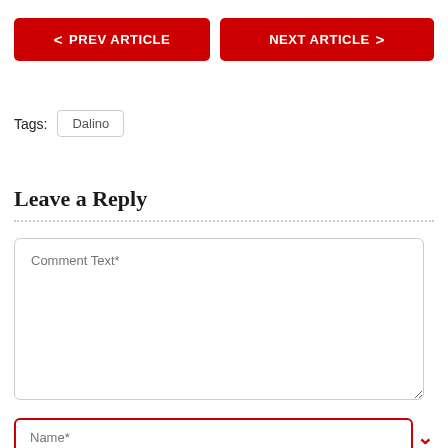< PREV ARTICLE
NEXT ARTICLE >
Tags:  Dalino
Leave a Reply
Comment Text*
Name*